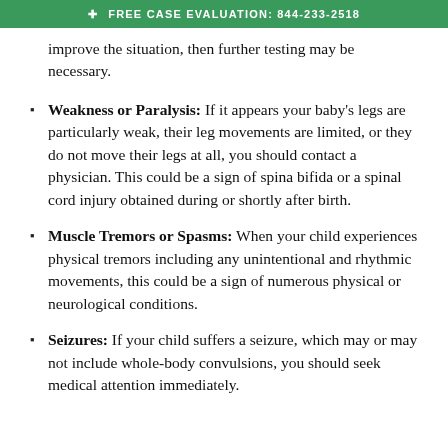✚ FREE CASE EVALUATION: 844-233-2518
improve the situation, then further testing may be necessary.
Weakness or Paralysis: If it appears your baby's legs are particularly weak, their leg movements are limited, or they do not move their legs at all, you should contact a physician. This could be a sign of spina bifida or a spinal cord injury obtained during or shortly after birth.
Muscle Tremors or Spasms: When your child experiences physical tremors including any unintentional and rhythmic movements, this could be a sign of numerous physical or neurological conditions.
Seizures: If your child suffers a seizure, which may or may not include whole-body convulsions, you should seek medical attention immediately.